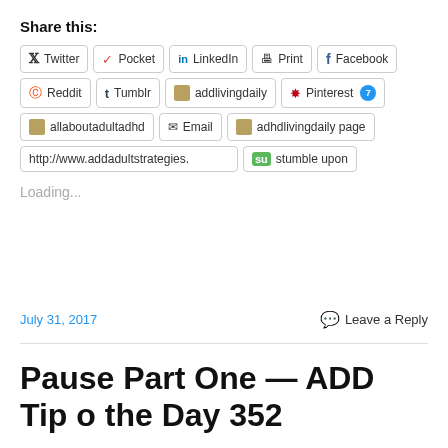Share this:
[Figure (screenshot): Row of social share buttons: Twitter, Pocket, LinkedIn, Print, Facebook]
[Figure (screenshot): Row of social share buttons: Reddit, Tumblr, addlivingdaily, Pinterest (7)]
[Figure (screenshot): Row of social share buttons: allaboutadultadhd, Email, adhdlivingdaily page]
[Figure (screenshot): Row of share buttons: http://www.addadultstrategies. and stumble upon]
Loading...
July 31, 2017
Leave a Reply
Pause Part One — ADD Tip o the Day 352